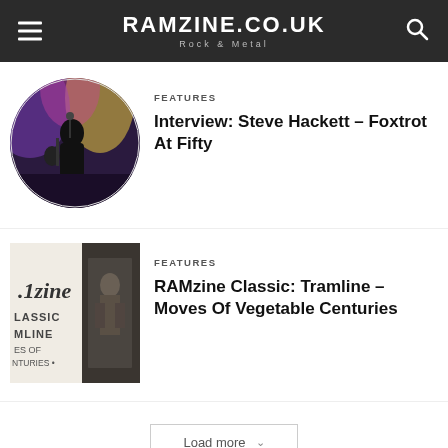RAMZINE.CO.UK — Rock & Metal
FEATURES
Interview: Steve Hackett – Foxtrot At Fifty
[Figure (photo): Circular thumbnail photo of a musician on stage performing with colorful purple and yellow stage lighting]
FEATURES
RAMzine Classic: Tramline – Moves Of Vegetable Centuries
[Figure (photo): Rectangular thumbnail image showing RAMzine Classic album art for Tramline – Moves Of Vegetable Centuries with album text visible]
Load more